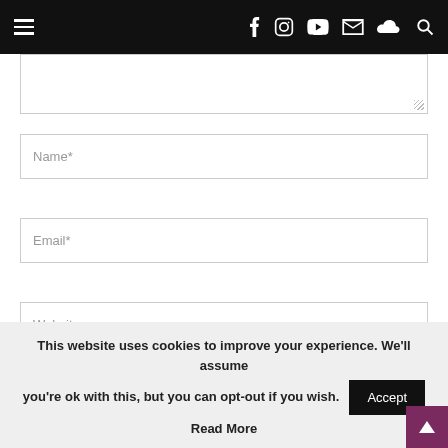[Figure (screenshot): Website navigation bar with hamburger menu on the left and social media icons (Facebook, Instagram, YouTube, Email, SoundCloud, Search) on the right, on a black background]
[Figure (screenshot): Partial comment textarea input field with resize handle in bottom-right corner]
Name*
Email*
Website
Save my name, email, and website in this browser for the next time I comment.
This website uses cookies to improve your experience. We'll assume you're ok with this, but you can opt-out if you wish.
Accept
Read More